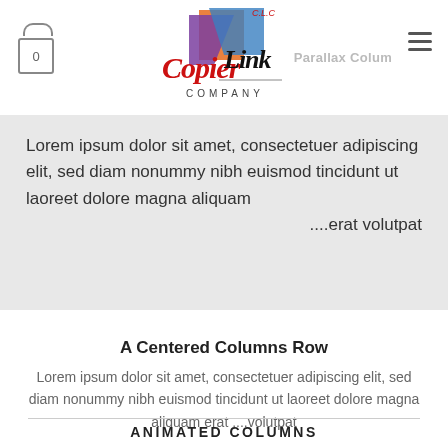[Figure (logo): Copier Link Company logo with colorful geometric shapes and stylized script text, with a shopping cart icon on the left and hamburger menu on the right, and 'Parallax Column' text in gray]
Lorem ipsum dolor sit amet, consectetuer adipiscing elit, sed diam nonummy nibh euismod tincidunt ut laoreet dolore magna aliquam ....erat volutpat
A Centered Columns Row
Lorem ipsum dolor sit amet, consectetuer adipiscing elit, sed diam nonummy nibh euismod tincidunt ut laoreet dolore magna aliquam erat ....volutpat
ANIMATED COLUMNS